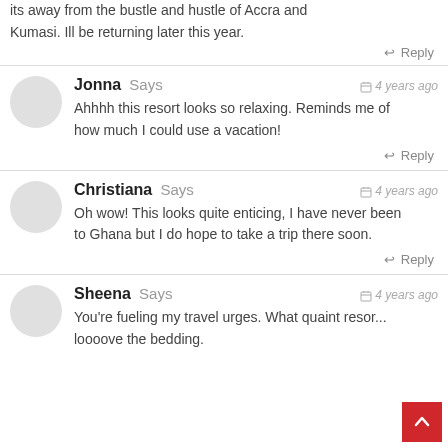its away from the bustle and hustle of Accra and Kumasi. Ill be returning later this year.
Reply
Jonna Says — 4 years ago
Ahhhh this resort looks so relaxing. Reminds me of how much I could use a vacation!
Reply
Christiana Says — 4 years ago
Oh wow! This looks quite enticing, I have never been to Ghana but I do hope to take a trip there soon.
Reply
Sheena Says — 4 years ago
You're fueling my travel urges. What quaint resor... loooove the bedding.